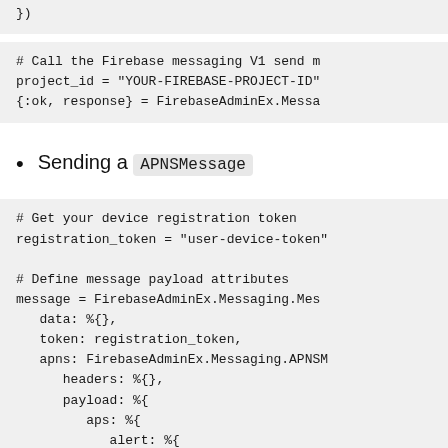})
# Call the Firebase messaging V1 send 
project_id = "YOUR-FIREBASE-PROJECT-ID"
{:ok, response} = FirebaseAdminEx.Messa
Sending a APNSMessage
# Get your device registration token
registration_token = "user-device-token"

# Define message payload attributes
message = FirebaseAdminEx.Messaging.Mes
   data: %{},
   token: registration_token,
   apns: FirebaseAdminEx.Messaging.APNSM
      headers: %{},
      payload: %{
         aps: %{
            alert: %{
               title: "Message Title",